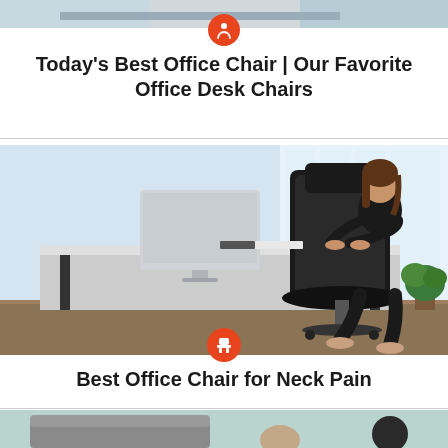[Figure (photo): Top portion of an office/desk scene, cropped at top of page]
Today's Best Office Chair | Our Favorite Office Desk Chairs
[Figure (photo): Woman in black outfit sitting in a black office chair at a desk with a computer monitor, in a bright modern office setting. Orange circle icon with chair/record symbol overlaid at bottom center.]
Best Office Chair for Neck Pain
[Figure (photo): Bottom portion of another article image showing a grey chair or sofa in a room setting, partially cropped at bottom of page]